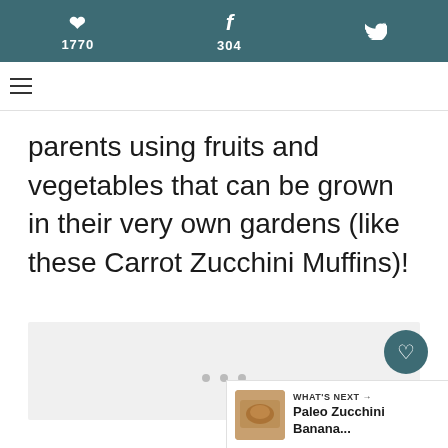1770  304
parents using fruits and vegetables that can be grown in their very own gardens (like these Carrot Zucchini Muffins)!
[Figure (photo): Gray placeholder content area with dot pagination indicators at bottom]
2.1K
WHAT'S NEXT → Paleo Zucchini Banana...